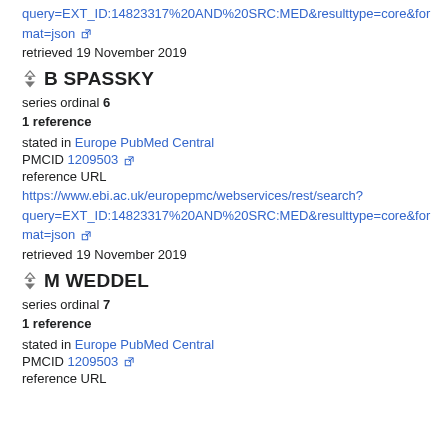query=EXT_ID:14823317%20AND%20SRC:MED&resulttype=core&format=json [external link]
retrieved 19 November 2019
B SPASSKY
series ordinal 6
1 reference
stated in Europe PubMed Central
PMCID 1209503 [external link]
reference URL
https://www.ebi.ac.uk/europepmc/webservices/rest/search?query=EXT_ID:14823317%20AND%20SRC:MED&resulttype=core&format=json [external link]
retrieved 19 November 2019
M WEDDEL
series ordinal 7
1 reference
stated in Europe PubMed Central
PMCID 1209503 [external link]
reference URL